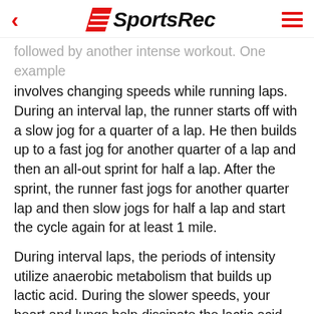SportsRec
followed by another intense workout. One example involves changing speeds while running laps. During an interval lap, the runner starts off with a slow jog for a quarter of a lap. He then builds up to a fast jog for another quarter of a lap and then an all-out sprint for half a lap. After the sprint, the runner fast jogs for another quarter lap and then slow jogs for half a lap and start the cycle again for at least 1 mile.
During interval laps, the periods of intensity utilize anaerobic metabolism that builds up lactic acid. During the slower speeds, your heart and lungs help dissipate the lactic acid by pumping in oxygen-rich blood to those leg muscles. Once the muscles are full of oxygen, they can handle another anaerobic period